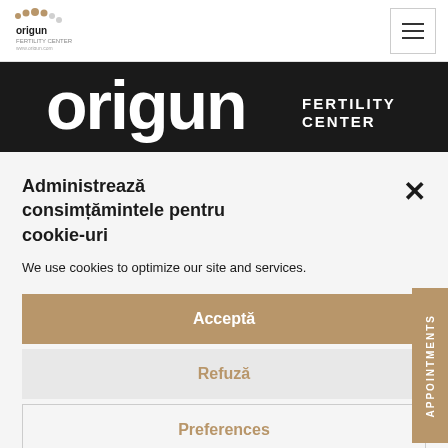[Figure (logo): Origun Fertility Center logo - top left navigation]
[Figure (logo): Hamburger menu button - top right]
[Figure (logo): Origun Fertility Center large white logo on black banner]
Administrează consimțămintele pentru cookie-uri
We use cookies to optimize our site and services.
Acceptă
Refuză
Preferences
APPOINTMENTS